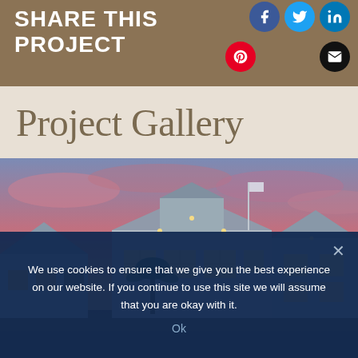SHARE THIS PROJECT
[Figure (screenshot): Social media sharing icons: Facebook (blue circle), Twitter (light blue circle), LinkedIn (blue circle), Pinterest (red circle), Email (black circle)]
Project Gallery
[Figure (photo): Coastal/beach style luxury homes photographed at sunset or dusk, featuring multiple stories, white siding, metal roofs, lit windows, and palm trees in the foreground against a pink and purple sky]
We use cookies to ensure that we give you the best experience on our website. If you continue to use this site we will assume that you are okay with it.
Ok